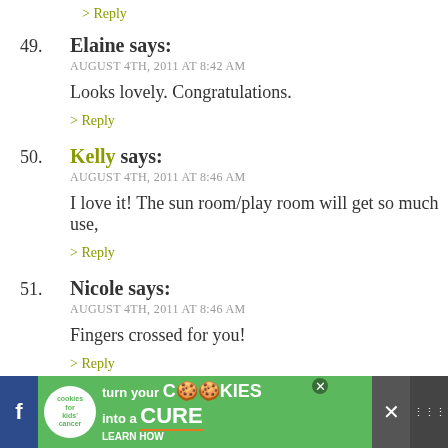> Reply
49. Elaine says:
AUGUST 4TH, 2011 AT 8:42 AM
Looks lovely. Congratulations.
> Reply
50. Kelly says:
AUGUST 4TH, 2011 AT 8:46 AM
I love it! The sun room/play room will get so much use,
> Reply
51. Nicole says:
AUGUST 4TH, 2011 AT 8:46 AM
Fingers crossed for you!
> Reply
52. Kirsten says:
AUGUST 4TH, 2011 AT 8:58 AM
[Figure (screenshot): Advertisement banner at the bottom: 'cookies for kids cancer - turn your COOKIES into a CURE LEARN HOW' on a green background with social media icons]